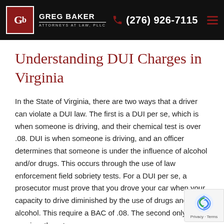Greg Baker Attorneys at Law, PLLC | (276) 926-7115
Understanding DUI Charges in Virginia
In the State of Virginia, there are two ways that a driver can violate a DUI law. The first is a DUI per se, which is when someone is driving, and their chemical test is over .08. DUI is when someone is driving, and an officer determines that someone is under the influence of alcohol and/or drugs. This occurs through the use of law enforcement field sobriety tests. For a DUI per se, a prosecutor must prove that you drove your car when your capacity to drive diminished by the use of drugs and/or alcohol. This require a BAC of .08. The second only requires them to